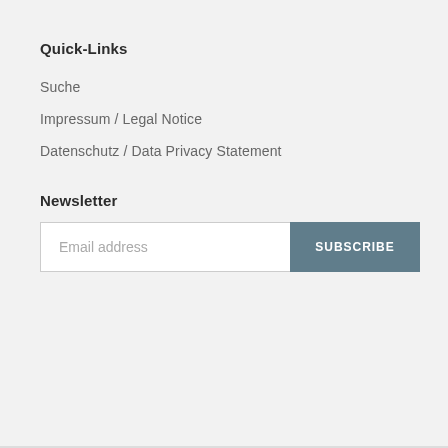Quick-Links
Suche
Impressum / Legal Notice
Datenschutz / Data Privacy Statement
Newsletter
Email address | SUBSCRIBE